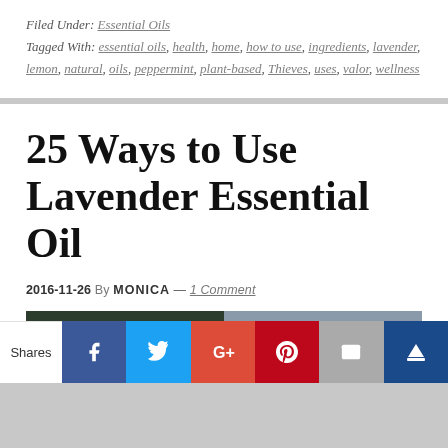Filed Under: Essential Oils
Tagged With: essential oils, health, home, how to use, ingredients, lavender, lemon, natural, oils, peppermint, plant-based, Thieves, uses, valor, wellness
25 Ways to Use Lavender Essential Oil
2016-11-26 By MONICA — 1 Comment
[Figure (photo): Dark blurred photo, likely of lavender or essential oil bottles]
[Figure (infographic): Social share bar with Facebook, Twitter, Google+, Pinterest, Email, and crown buttons]